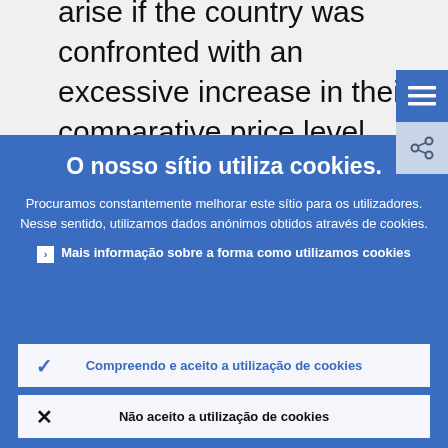arise if the country was confronted with an excessive increase in their comparative price level, e.g. through inappropriately low interest rates and a resulting overheating.
O nosso sítio utiliza cookies.
Procuramos constantemente melhorar este sítio para os utilizadores. Nesse sentido, utilizamos dados anónimos obtidos através de cookies.
Mais informação sobre a forma como utilizamos cookies
Compreendo e aceito a utilização de cookies
Não aceito a utilização de cookies